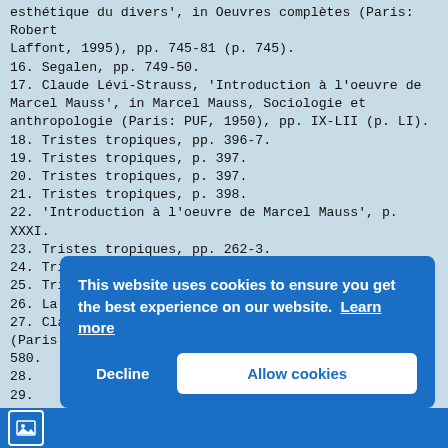esthétique du divers', in Oeuvres complètes (Paris: Robert Laffont, 1995), pp. 745-81 (p. 745).
16. Segalen, pp. 749-50.
17. Claude Lévi-Strauss, 'Introduction à l'oeuvre de Marcel Mauss', in Marcel Mauss, Sociologie et anthropologie (Paris: PUF, 1950), pp. IX-LII (p. LI).
18. Tristes tropiques, pp. 396-7.
19. Tristes tropiques, p. 397.
20. Tristes tropiques, p. 397.
21. Tristes tropiques, p. 398.
22. 'Introduction à l'oeuvre de Marcel Mauss', p. XXXI.
23. Tristes tropiques, pp. 262-3.
24. Tristes tropiques, p. 263.
25. Tristes tropiques, p. 263.
26. La Pensée sauvage, p. 251.
27. Claude Lévi-Strauss, Mythologiques, 4 vols (Paris: Plon, 1964-71), IV: L'Homme nu (1971), p. 580.
28. Mythologiques, [text obscured]
29. [text obscured by cookie banner]
30. [text partially obscured]
[Figure (screenshot): Cookie consent banner overlay with blue background reading 'This website uses cookies to ensure you get the best experience on our website. Learn more' with Decline and Allow cookies buttons.]
[Figure (screenshot): Blue bottom navigation bar with a small image/photo icon in a white-bordered box.]